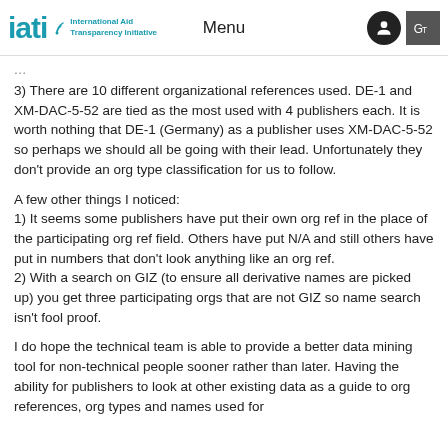iati International Aid Transparency Initiative | Menu
3) There are 10 different organizational references used. DE-1 and XM-DAC-5-52 are tied as the most used with 4 publishers each. It is worth nothing that DE-1 (Germany) as a publisher uses XM-DAC-5-52 so perhaps we should all be going with their lead. Unfortunately they don't provide an org type classification for us to follow.
A few other things I noticed:
1) It seems some publishers have put their own org ref in the place of the participating org ref field. Others have put N/A and still others have put in numbers that don't look anything like an org ref.
2) With a search on GIZ (to ensure all derivative names are picked up) you get three participating orgs that are not GIZ so name search isn't fool proof.
I do hope the technical team is able to provide a better data mining tool for non-technical people sooner rather than later. Having the ability for publishers to look at other existing data as a guide to org references, org types and names used for